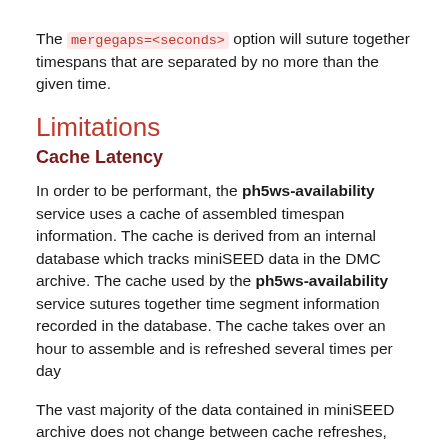The mergegaps=<seconds> option will suture together timespans that are separated by no more than the given time.
Limitations
Cache Latency
In order to be performant, the ph5ws-availability service uses a cache of assembled timespan information. The cache is derived from an internal database which tracks miniSEED data in the DMC archive. The cache used by the ph5ws-availability service sutures together time segment information recorded in the database. The cache takes over an hour to assemble and is refreshed several times per day
The vast majority of the data contained in miniSEED archive does not change between cache refreshes, however, there will always be a certain amount of